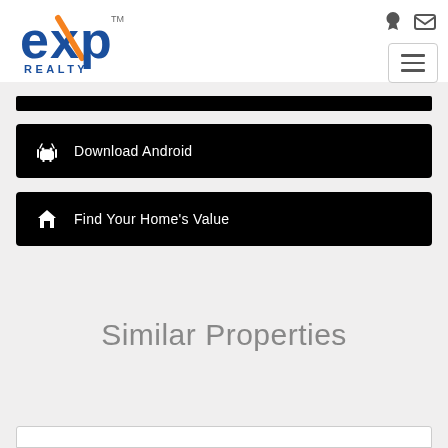[Figure (logo): eXp Realty logo — blue and orange stylized 'exp' with 'REALTY' text beneath, trademark symbol]
[Figure (other): Navigation bar with hamburger menu icon (three horizontal lines) and top-right icons (user login, envelope/mail)]
Download Android
Find Your Home's Value
Similar Properties